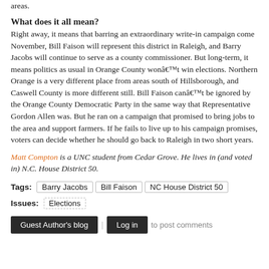areas.
What does it all mean?
Right away, it means that barring an extraordinary write-in campaign come November, Bill Faison will represent this district in Raleigh, and Barry Jacobs will continue to serve as a county commissioner. But long-term, it means politics as usual in Orange County won’t win elections. Northern Orange is a very different place from areas south of Hillsborough, and Caswell County is more different still. Bill Faison can’t be ignored by the Orange County Democratic Party in the same way that Representative Gordon Allen was. But he ran on a campaign that promised to bring jobs to the area and support farmers. If he fails to live up to his campaign promises, voters can decide whether he should go back to Raleigh in two short years.
Matt Compton is a UNC student from Cedar Grove. He lives in (and voted in) N.C. House District 50.
Tags: Barry Jacobs | Bill Faison | NC House District 50
Issues: Elections
Guest Author's blog | Log in to post comments